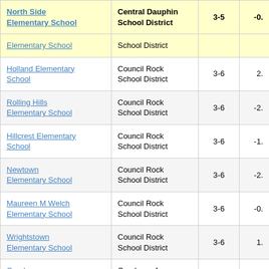| School | District | Grades | Score |
| --- | --- | --- | --- |
| North Side Elementary School | Central Dauphin School District | 3-5 | -0. |
| Elementary School | School District |  |  |
| Holland Elementary School | Council Rock School District | 3-6 | 2. |
| Rolling Hills Elementary School | Council Rock School District | 3-6 | -2. |
| Hillcrest Elementary School | Council Rock School District | 3-6 | -1. |
| Newtown Elementary School | Council Rock School District | 3-6 | -2. |
| Maureen M Welch Elementary School | Council Rock School District | 3-6 | -0. |
| Wrightstown Elementary School | Council Rock School District | 3-6 | 1. |
| Cranberry Elementary School | Cranberry Area School District | 3-6 | -0. |